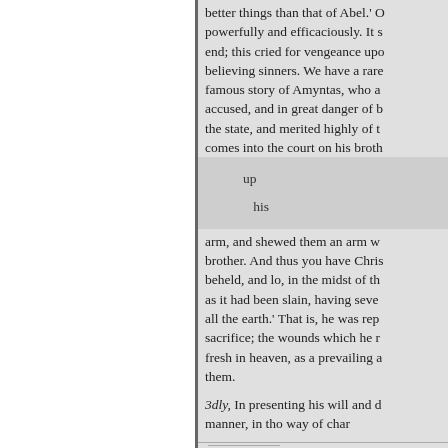better things than that of Abel.' O powerfully and efficaciously. It s end; this cried for vengeance upo believing sinners. We have a rare famous story of Amyntas, who a accused, and in great danger of b the state, and merited highly of t comes into the court on his broth
up
his
arm, and shewed them an arm w brother. And thus you have Chri beheld, and lo, in the midst of th as it had been slain, having seve all the earth.' That is, he was rep sacrifice; the wounds which he r fresh in heaven, as a prevailing a them.
3dly, In presenting his will and d manner, in tho way of char
« Edellinen